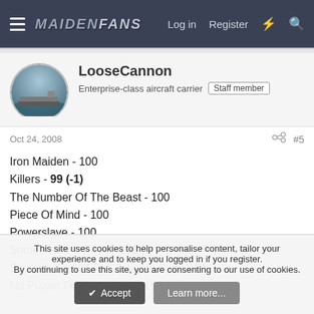MaidenFans — Log in  Register
LooseCannon
Enterprise-class aircraft carrier  Staff member
Oct 24, 2008  #5
Iron Maiden - 100
Killers - 99 (-1)
The Number Of The Beast - 100
Piece Of Mind - 100
Powerslave - 100
Somewhere In Time - 102
Seventh Son Of The Seventh Son - 101
No Prayer For The Dying - 100
This site uses cookies to help personalise content, tailor your experience and to keep you logged in if you register.
By continuing to use this site, you are consenting to our use of cookies.
[Accept]  [Learn more...]